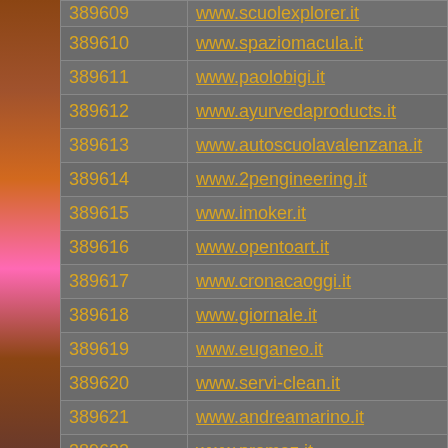| ID | URL |
| --- | --- |
| 389609 | www.scuolexplorer.it |
| 389610 | www.spaziomacula.it |
| 389611 | www.paolobigi.it |
| 389612 | www.ayurvedaproducts.it |
| 389613 | www.autoscuolavalenzana.it |
| 389614 | www.2pengineering.it |
| 389615 | www.imoker.it |
| 389616 | www.opentoart.it |
| 389617 | www.cronacaoggi.it |
| 389618 | www.giornale.it |
| 389619 | www.euganeo.it |
| 389620 | www.servi-clean.it |
| 389621 | www.andreamarino.it |
| 389622 | www.promez.it |
| 389623 | www.ideatoproduct.it |
| 389624 | www.plcstudio.it |